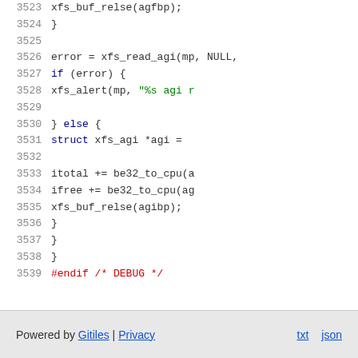[Figure (screenshot): Source code viewer showing C code lines 3523-3539 with syntax highlighting. Line numbers in gray on left, code in black/green/dark colors. Shows xfs filesystem related C code including xfs_buf_relse, xfs_read_agi, xfs_alert, struct xfs_agi, itotal, ifree calls, and #endif DEBUG preprocessor directive.]
Powered by Gitiles | Privacy    txt  json